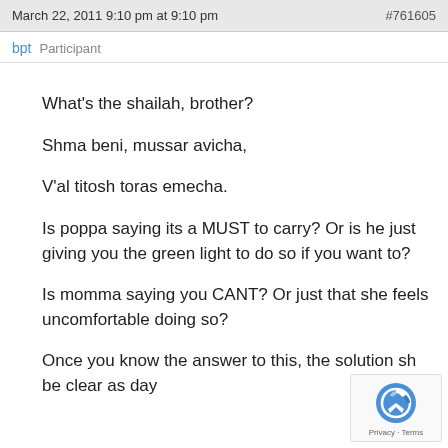March 22, 2011 9:10 pm at 9:10 pm   #761605
bpt  Participant
What's the shailah, brother?

Shma beni, mussar avicha,

V'al titosh toras emecha.

Is poppa saying its a MUST to carry? Or is he just giving you the green light to do so if you want to?

Is momma saying you CANT? Or just that she feels uncomfortable doing so?

Once you know the answer to this, the solution sh be clear as day